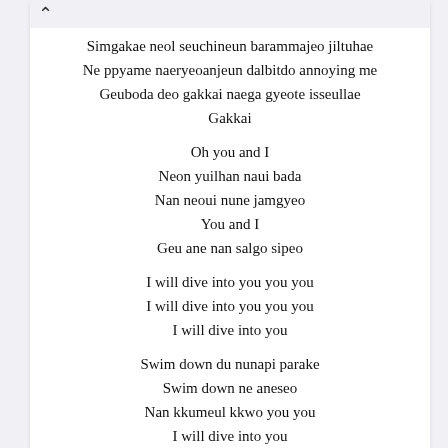Simgakae neol seuchineun barammajeo jiltuhae
Ne ppyame naeryeoanjeun dalbitdo annoying me
Geuboda deo gakkai naega gyeote isseullae
Gakkai

Oh you and I
Neon yuilhan naui bada
Nan neoui nune jamgyeo
You and I
Geu ane nan salgo sipeo

I will dive into you you you
I will dive into you you you
I will dive into you

Swim down du nunapi parake
Swim down ne aneseo
Nan kkumeul kkwo you you
I will dive into you